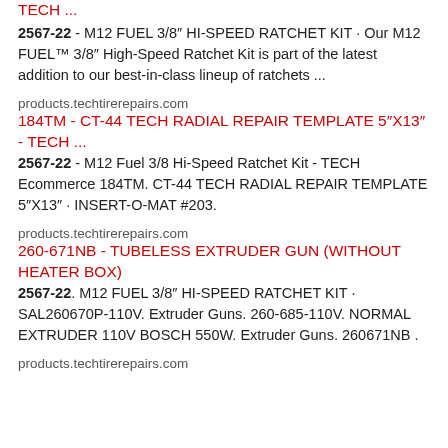TECH ...
2567-22 - M12 FUEL 3/8″ HI-SPEED RATCHET KIT · Our M12 FUEL™ 3/8″ High-Speed Ratchet Kit is part of the latest addition to our best-in-class lineup of ratchets ...
products.techtirerepairs.com
184TM - CT-44 TECH RADIAL REPAIR TEMPLATE 5"X13" - TECH ...
2567-22 - M12 Fuel 3/8 Hi-Speed Ratchet Kit - TECH Ecommerce 184TM. CT-44 TECH RADIAL REPAIR TEMPLATE 5″X13″ · INSERT-O-MAT #203.
products.techtirerepairs.com
260-671NB - TUBELESS EXTRUDER GUN (WITHOUT HEATER BOX)
2567-22. M12 FUEL 3/8" HI-SPEED RATCHET KIT · SAL260670P-110V. Extruder Guns. 260-685-110V. NORMAL EXTRUDER 110V BOSCH 550W. Extruder Guns. 260671NB .
products.techtirerepairs.com